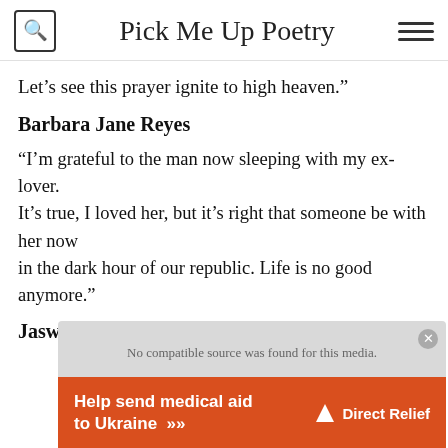Pick Me Up Poetry
Let’s see this prayer ignite to high heaven.”
Barbara Jane Reyes
“I’m grateful to the man now sleeping with my ex-lover.
It’s true, I loved her, but it’s right that someone be with her now
in the dark hour of our republic. Life is no good anymore.”
Jaswinder Bolina
[Figure (screenshot): Gray video player overlay with close button and error message: 'No compatible source was found for this media.']
[Figure (infographic): Orange Direct Relief advertisement banner: 'Help send medical aid to Ukraine >>' with Direct Relief logo]